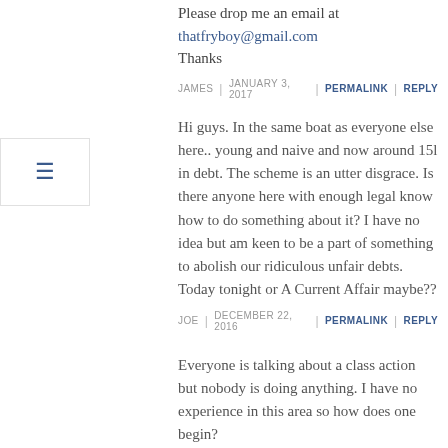Please drop me an email at thatfryboy@gmail.com
Thanks
JAMES  |  JANUARY 3, 2017  |  PERMALINK  |  REPLY
Hi guys. In the same boat as everyone else here.. young and naive and now around 15l in debt. The scheme is an utter disgrace. Is there anyone here with enough legal know how to do something about it? I have no idea but am keen to be a part of something to abolish our ridiculous unfair debts. Today tonight or A Current Affair maybe??
JOE  |  DECEMBER 22, 2016  |  PERMALINK  |  REPLY
Everyone is talking about a class action but nobody is doing anything. I have no experience in this area so how does one begin?
NOUVEAUNUEVA  |  DECEMBER 3, 2016  |  PERMALINK  |  REPLY